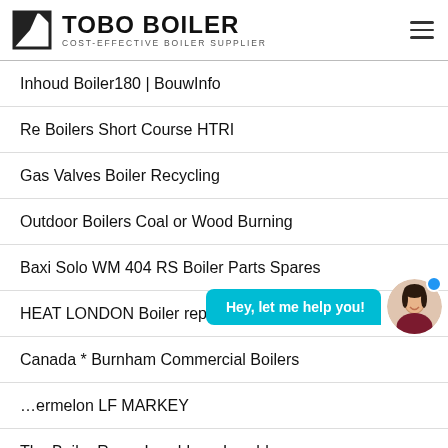TOBO BOILER — COST-EFFECTIVE BOILER SUPPLIER
Inhoud Boiler180 | BouwInfo
Re Boilers Short Course HTRI
Gas Valves Boiler Recycling
Outdoor Boilers Coal or Wood Burning
Baxi Solo WM 404 RS Boiler Parts Spares
HEAT LONDON Boiler replacement London
Canada * Burnham Commercial Boilers
…ermelon LF MARKEY
The Boiler Room Lynchburg Lynchburg